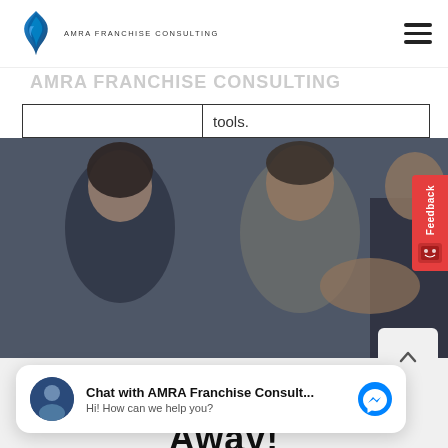[Figure (logo): AMRA Franchise Consulting logo — blue flame/leaf graphic with text 'AMRA FRANCHISE CONSULTING']
tools.
[Figure (photo): Business meeting photo: woman smiling on left, man in grey shirt shaking hands with older man in suit on right]
Feedback
Chat with AMRA Franchise Consult...
Hi! How can we help you?
Away!